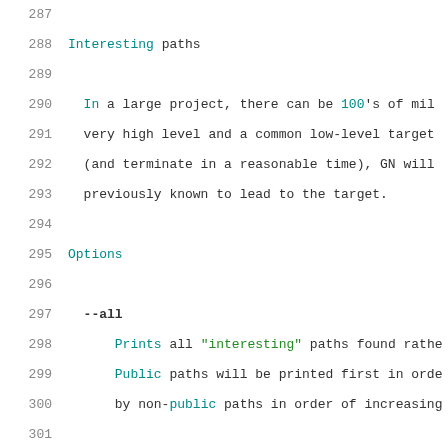287 (empty line)
288   Interesting paths
289 (empty line)
290     In a large project, there can be 100's of mil
291     very high level and a common low-level target
292     (and terminate in a reasonable time), GN will
293     previously known to lead to the target.
294 (empty line)
295   Options
296 (empty line)
297     --all
298         Prints all "interesting" paths found rathe
299         Public paths will be printed first in orde
300         by non-public paths in order of increasing
301 (empty line)
302     --public
303         Considers only public paths. Can't be used
304 (empty line)
305     --with-data
306         Additionally follows data deps. Without th
307         linked deps will be followed. Can't be use